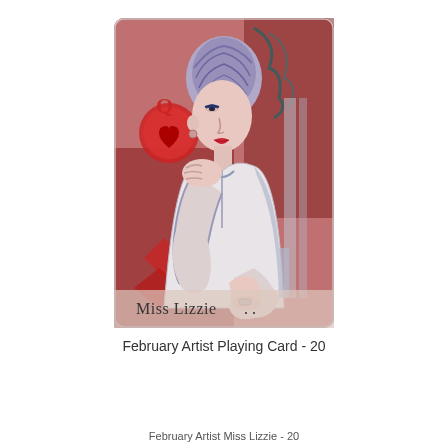[Figure (illustration): A playing card illustration titled 'Miss Lizzie' showing a woman with blue-purple hair in an updo, resting her chin on her hand, wearing a white blouse. Background features a Queen of Hearts playing card motif in red and dark tones. Text 'Miss Lizzie' appears at the bottom of the card.]
February Artist Playing Card - 20
February Artist Miss Lizzie - 20